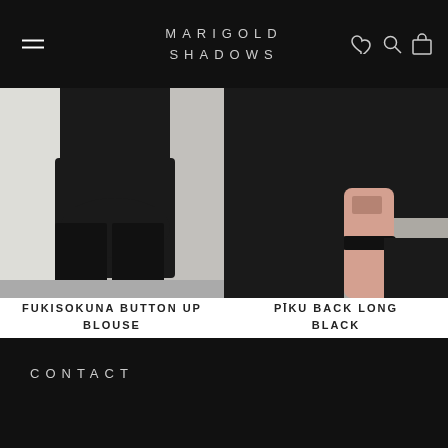MARIGOLD SHADOWS
[Figure (photo): Person wearing black drop-crotch pants and black shoes, standing against a concrete wall]
FUKISOKUNA BUTTON UP BLOUSE
$49
★★★★★ (20)
[Figure (photo): Person in black attire with a tattoo on their arm, close-up view against a concrete wall]
PĪKU BACK LONG BLACK
$58
CONTACT